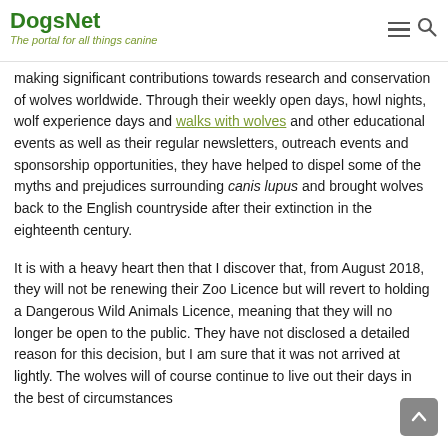DogsNet – The portal for all things canine
making significant contributions towards research and conservation of wolves worldwide. Through their weekly open days, howl nights, wolf experience days and walks with wolves and other educational events as well as their regular newsletters, outreach events and sponsorship opportunities, they have helped to dispel some of the myths and prejudices surrounding canis lupus and brought wolves back to the English countryside after their extinction in the eighteenth century.
It is with a heavy heart then that I discover that, from August 2018, they will not be renewing their Zoo Licence but will revert to holding a Dangerous Wild Animals Licence, meaning that they will no longer be open to the public. They have not disclosed a detailed reason for this decision, but I am sure that it was not arrived at lightly. The wolves will of course continue to live out their days in the best of circumstances